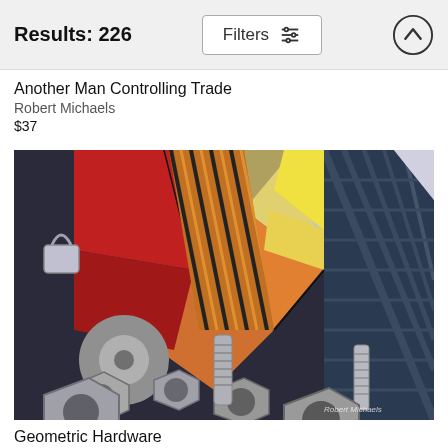Results: 226  Filters
Another Man Controlling Trade
Robert Michaels
$37
[Figure (photo): Digital art photograph showing geometric metallic hardware - nuts, bolts, screws arranged with abstract geometric colored background featuring red, orange, yellow, and dark blue metallic shapes. Watermark reads Robert Michaels.]
Geometric Hardware